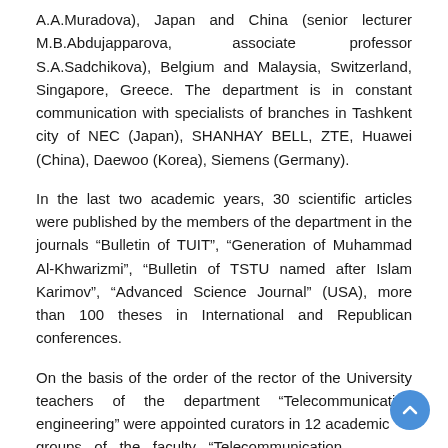A.A.Muradova), Japan and China (senior lecturer M.B.Abdujapparova, associate professor S.A.Sadchikova), Belgium and Malaysia, Switzerland, Singapore, Greece. The department is in constant communication with specialists of branches in Tashkent city of NEC (Japan), SHANHAY BELL, ZTE, Huawei (China), Daewoo (Korea), Siemens (Germany).
In the last two academic years, 30 scientific articles were published by the members of the department in the journals “Bulletin of TUIT”, “Generation of Muhammad Al-Khwarizmi”, “Bulletin of TSTU named after Islam Karimov”, “Advanced Science Journal” (USA), more than 100 theses in International and Republican conferences.
On the basis of the order of the rector of the University teachers of the department “Telecommunication engineering” were appointed curators in 12 academic groups of the faculty “Telecommunication